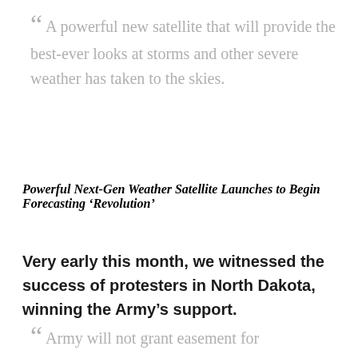“ A powerful new satellite that will provide the best-ever looks at storms and other severe weather has taken to the skies.
Powerful Next-Gen Weather Satellite Launches to Begin Forecasting ‘Revolution’
Very early this month, we witnessed the success of protesters in North Dakota, winning the Army’s support.
“ Army will not grant easement for